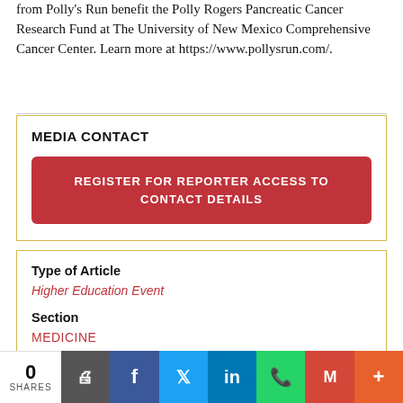from Polly's Run benefit the Polly Rogers Pancreatic Cancer Research Fund at The University of New Mexico Comprehensive Cancer Center. Learn more at https://www.pollysrun.com/.
MEDIA CONTACT
REGISTER FOR REPORTER ACCESS TO CONTACT DETAILS
Type of Article
Higher Education Event
Section
MEDICINE
0 SHARES